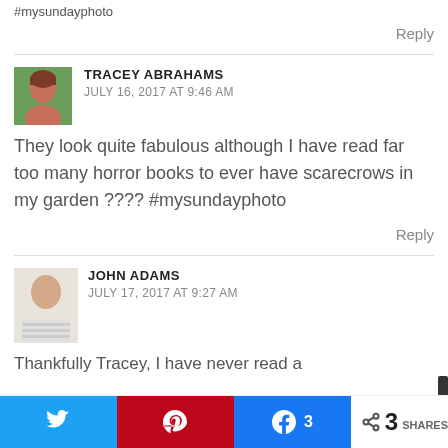#mysundayphoto
Reply
TRACEY ABRAHAMS
JULY 16, 2017 AT 9:46 AM
They look quite fabulous although I have read far too many horror books to ever have scarecrows in my garden ???? #mysundayphoto
Reply
JOHN ADAMS
JULY 17, 2017 AT 9:27 AM
Thankfully Tracey, I have never read a
3 SHARES